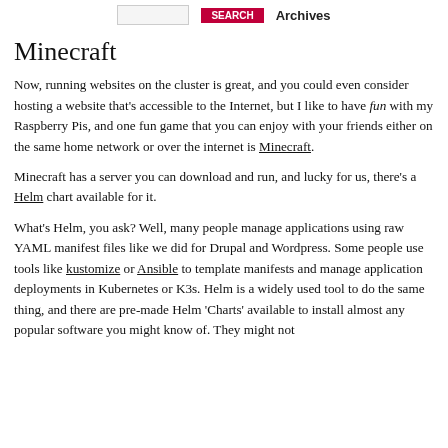Archives
Minecraft
Now, running websites on the cluster is great, and you could even consider hosting a website that's accessible to the Internet, but I like to have fun with my Raspberry Pis, and one fun game that you can enjoy with your friends either on the same home network or over the internet is Minecraft.
Minecraft has a server you can download and run, and lucky for us, there's a Helm chart available for it.
What's Helm, you ask? Well, many people manage applications using raw YAML manifest files like we did for Drupal and Wordpress. Some people use tools like kustomize or Ansible to template manifests and manage application deployments in Kubernetes or K3s. Helm is a widely used tool to do the same thing, and there are pre-made Helm 'Charts' available to install almost any popular software you might know of. They might not